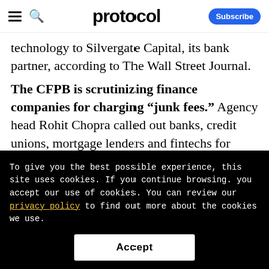protocol — Subscribe
technology to Silvergate Capital, its bank partner, according to The Wall Street Journal.
The CFPB is scrutinizing finance companies for charging “junk fees.” Agency head Rohit Chopra called out banks, credit unions, mortgage lenders and fintechs for giving customers a raw deal. He said he would
To give you the best possible experience, this site uses cookies. If you continue browsing. you accept our use of cookies. You can review our privacy policy to find out more about the cookies we use.
Accept